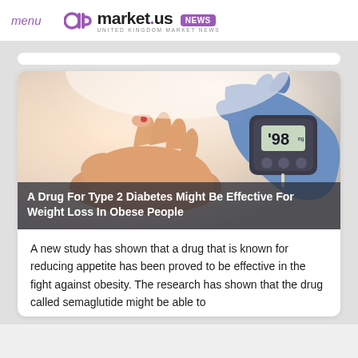menu | market.us NEWS
[Figure (photo): A gloved hand holding a blood glucose meter showing '98' reading against a patient's finger being pricked, medical setting]
A Drug For Type 2 Diabetes Might Be Effective For Weight Loss In Obese People
A new study has shown that a drug that is known for reducing appetite has been proved to be effective in the fight against obesity. The research has shown that the drug called semaglutide might be able to